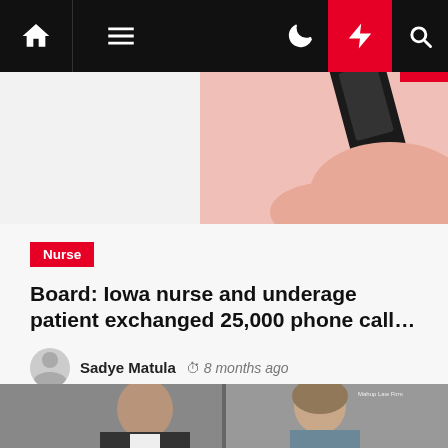Navigation bar with home, menu, dark mode, flash/breaking news, and search icons
[Figure (photo): Top partial image showing a hand holding a phone against a pink background]
Nurse
Board: Iowa nurse and underage patient exchanged 25,000 phone call…
Sadye Matula  8 months ago
[Figure (photo): Bottom image split: left side shows a man in a dark suit, right side shows a woman in grey top with 'Mahup Law Firm' watermark]